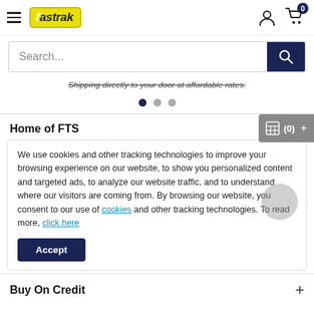fastrak — navigation header with hamburger menu, logo, user icon, cart (0)
Search...
Shipping directly to your door at affordable rates.
[Figure (other): Carousel indicator dots: one filled dark, two gray]
Home of FTS
We use cookies and other tracking technologies to improve your browsing experience on our website, to show you personalized content and targeted ads, to analyze our website traffic, and to understand where our visitors are coming from. By browsing our website, you consent to our use of cookies and other tracking technologies. To read more, click here
Accept
Buy On Credit